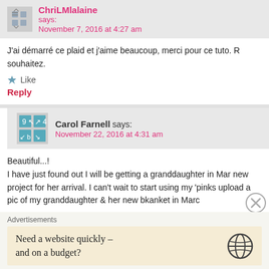ChriLMlalaine says: November 7, 2016 at 4:27 am
J'ai démarré ce plaid et j'aime beaucoup, merci pour ce tuto. R souhaitez.
Like
Reply
Carol Farnell says: November 22, 2016 at 4:31 am
Beautiful...!
I have just found out I will be getting a granddaughter in Mar new project for her arrival. I can't wait to start using my 'pinks upload a pic of my granddaughter & her new bkanket in Marc
Like
Advertisements
Need a website quickly – and on a budget?